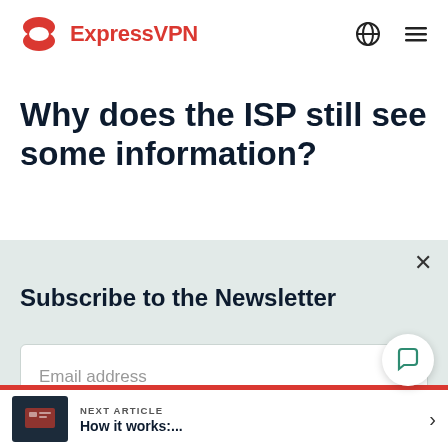ExpressVPN
Why does the ISP still see some information?
Subscribe to the Newsletter
Email address
NEXT ARTICLE
How it works:...